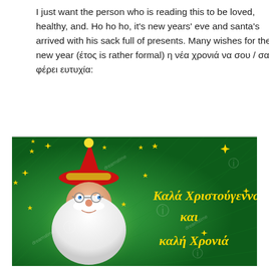I just want the person who is reading this to be loved, healthy, and. Ho ho ho, it's new years' eve and santa's arrived with his sack full of presents. Many wishes for the new year (έτος is rather formal) η νέα χρονιά να σου / σας φέρει ευτυχία:
[Figure (illustration): A Christmas card with a green background featuring Santa Claus face with a red hat, white beard, and glasses. Yellow Greek text reads 'Καλά Χριστούγεννα και καλή Χρονιά'. Gold stars scattered throughout. Dreamstime watermark visible.]